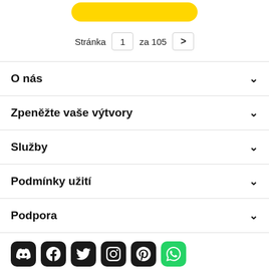[Figure (other): Yellow rounded button at top]
Stránka 1 za 105 >
O nás
Zpeněžte vaše výtvory
Služby
Podmínky užití
Podpora
[Figure (infographic): Social media icons row: Discord, Facebook, Twitter, Instagram, Pinterest, WhatsApp]
Všechna práva vyhrazena. © Inmagine Lab Pte Ltd 2022.